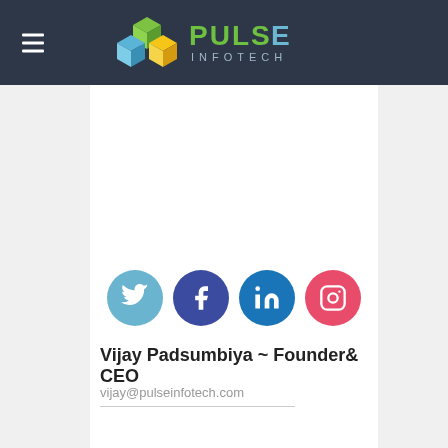Pulse Infotech
[Figure (logo): Pulse Infotech logo with colorful 3D cubes and stylized text PULSE INFOTECH on dark navy header bar]
[Figure (infographic): Row of four social media icons: Twitter (light blue circle), Facebook (dark blue circle), LinkedIn (blue circle), Instagram (red-pink circle)]
Vijay Padsumbiya ~ Founder& CEO
vijay@pulseinfotech.com